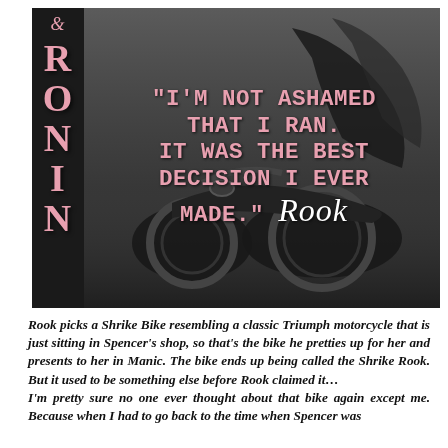[Figure (photo): Black and white photograph of a motorcyclist in leather jacket on a classic motorcycle. On the left side, a dark vertical strip displays '& RONIN' in pink vertical lettering. Overlaid on the photo in pink typewriter-style font is the quote: "I'M NOT ASHAMED THAT I RAN. IT WAS THE BEST DECISION I EVER MADE." followed by 'Rook' in white cursive script.]
Rook picks a Shrike Bike resembling a classic Triumph motorcycle that is just sitting in Spencer's shop, so that's the bike he pretties up for her and presents to her in Manic. The bike ends up being called the Shrike Rook. But it used to be something else before Rook claimed it… I'm pretty sure no one ever thought about that bike again except me. Because when I had to go back to the time when Spencer was